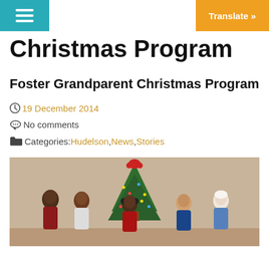Christmas Program | Translate »
Christmas Program
Foster Grandparent Christmas Program
19 December 2014
No comments
Categories: Hudelson, News, Stories
[Figure (photo): Group photo of five people standing in front of a decorated Christmas tree indoors.]